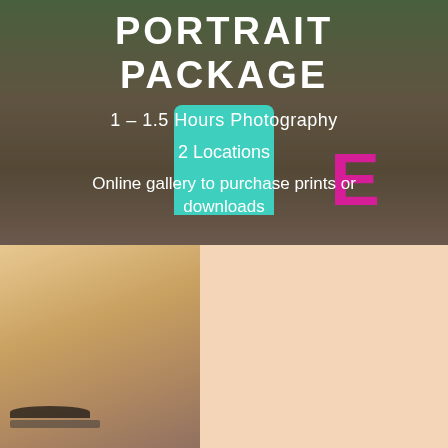[Figure (photo): Child sitting in teal chair outdoors with pink decorative letters, serving as background for portrait package ad]
PORTRAIT PACKAGE
1 – 1.5 Hours Photography
2 Locations
Online gallery to purchase prints or downloads
$250
[Figure (photo): Woman with blonde hair close-up portrait photo background]
CONTACT MATT MEAD PHOTOGRAPHY
CONTACT MATT TODAY!
* indicates required fields
Name